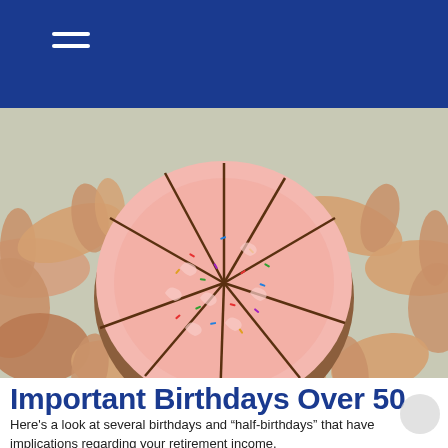[Figure (photo): Overhead view of hands reaching in from all sides to grab slices of a round pink frosted birthday cake with colorful sprinkles, cut into about 10 slices, on a light gray background.]
Important Birthdays Over 50
Here's a look at several birthdays and “half-birthdays” that have implications regarding your retirement income.